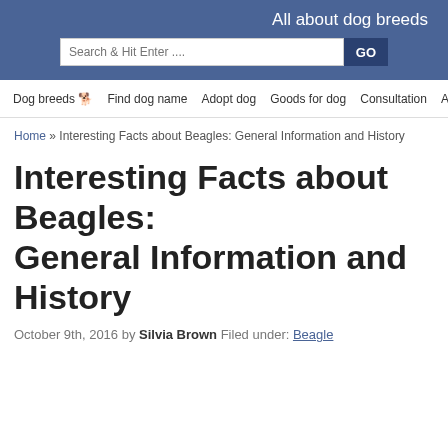All about dog breeds
Search & Hit Enter.... GO
Dog breeds 🐕 Find dog name Adopt dog Goods for dog Consultation About us
Home » Interesting Facts about Beagles: General Information and History
Interesting Facts about Beagles: General Information and History
October 9th, 2016 by Silvia Brown Filed under: Beagle